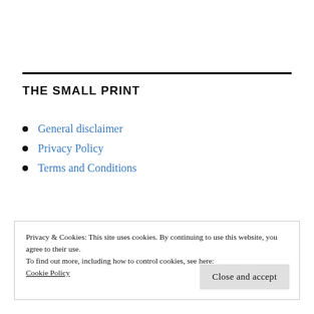THE SMALL PRINT
General disclaimer
Privacy Policy
Terms and Conditions
Privacy & Cookies: This site uses cookies. By continuing to use this website, you agree to their use.
To find out more, including how to control cookies, see here:
Cookie Policy
Close and accept